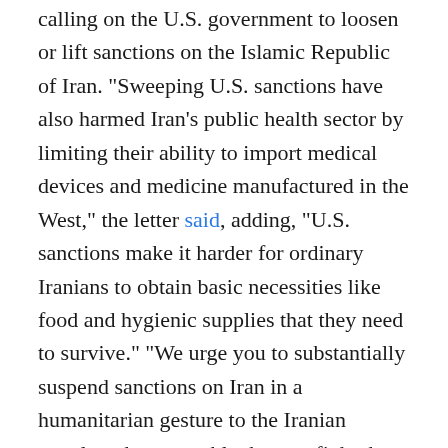calling on the U.S. government to loosen or lift sanctions on the Islamic Republic of Iran. “Sweeping U.S. sanctions have also harmed Iran’s public health sector by limiting their ability to import medical devices and medicine manufactured in the West,” the letter said, adding, “U.S. sanctions make it harder for ordinary Iranians to obtain basic necessities like food and hygienic supplies that they need to survive.” “We urge you to substantially suspend sanctions on Iran in a humanitarian gesture to the Iranian people to better enable them to fight the virus,” they declared.
The progressive lawmakers may be well-